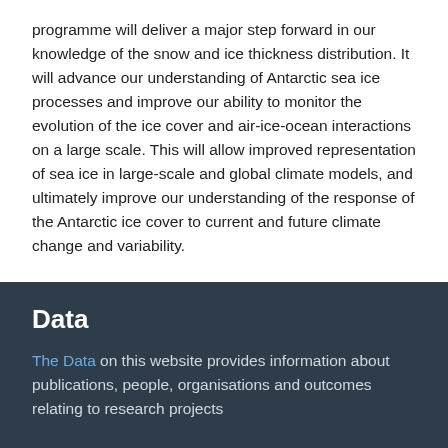programme will deliver a major step forward in our knowledge of the snow and ice thickness distribution. It will advance our understanding of Antarctic sea ice processes and improve our ability to monitor the evolution of the ice cover and air-ice-ocean interactions on a large scale. This will allow improved representation of sea ice in large-scale and global climate models, and ultimately improve our understanding of the response of the Antarctic ice cover to current and future climate change and variability.
Data
The Data on this website provides information about publications, people, organisations and outcomes relating to research projects
APIs